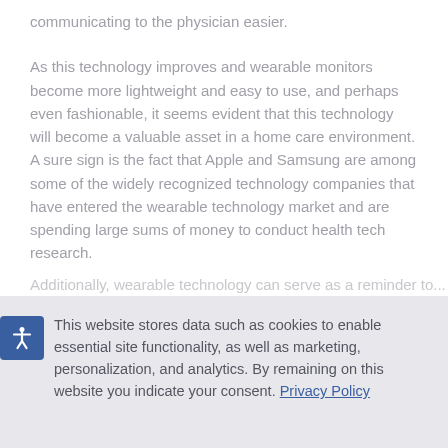communicating to the physician easier.
As this technology improves and wearable monitors become more lightweight and easy to use, and perhaps even fashionable, it seems evident that this technology will become a valuable asset in a home care environment. A sure sign is the fact that Apple and Samsung are among some of the widely recognized technology companies that have entered the wearable technology market and are spending large sums of money to conduct health tech research.
This website stores data such as cookies to enable essential site functionality, as well as marketing, personalization, and analytics. By remaining on this website you indicate your consent. Privacy Policy